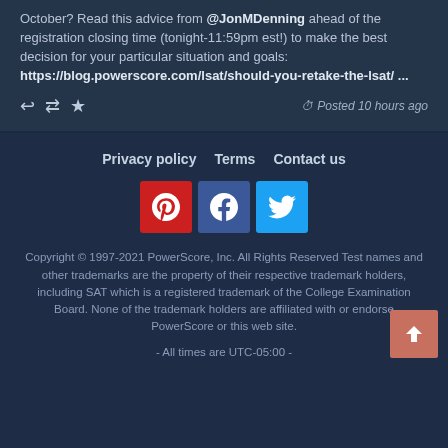October? Read this advice from @JonMDenning ahead of the registration closing time (tonight-11:59pm est!) to make the best decision for your particular situation and goals: https://blog.powerscore.com/lsat/should-you-retake-the-lsat/ ...
Posted 10 hours ago
Privacy policy   Terms   Contact us
[Figure (logo): Pinterest, Facebook, and Twitter social media icon buttons]
Copyright © 1997-2021 PowerScore, Inc. All Rights Reserved Test names and other trademarks are the property of their respective trademark holders, including SAT which is a registered trademark of the College Examination Board. None of the trademark holders are affiliated with or endorse PowerScore or this web site.
- All times are UTC-05:00 -